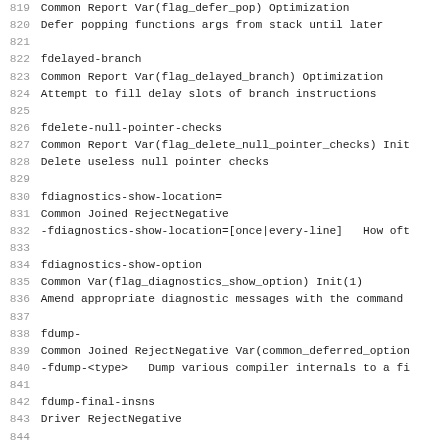Code listing lines 819-850 showing GCC compiler option definitions including flag_defer_pop, flag_delayed_branch, flag_delete_null_pointer_checks, fdiagnostics-show-location, fdiagnostics-show-option, fdump-, fdump-final-insns, fdump-final-insns=, fdump-go-spec=